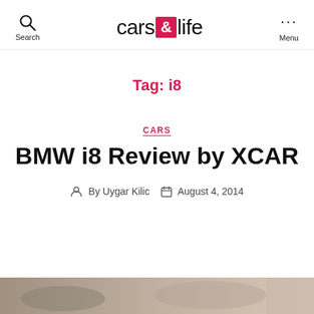cars & life — Search | Menu
Tag: i8
CARS
BMW i8 Review by XCAR
By Uygar Kilic   August 4, 2014
[Figure (photo): Partial view of a car photo at the bottom of the page]